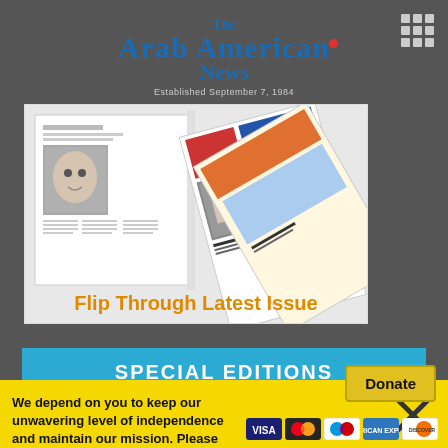The Arab American News — Established September 7, 1984
[Figure (photo): Newspaper pages flipping open showing black-and-white and color newspaper spreads with text 'Flip Through Latest Issue' in orange]
SPECIAL EDITIONS
We depend on you to keep our unwavering level of independence and maintain our mission. Please support The Arab American News today.